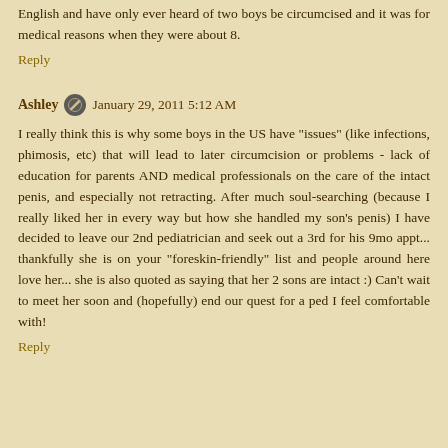English and have only ever heard of two boys be circumcised and it was for medical reasons when they were about 8.
Reply
Ashley   January 29, 2011 5:12 AM
I really think this is why some boys in the US have "issues" (like infections, phimosis, etc) that will lead to later circumcision or problems - lack of education for parents AND medical professionals on the care of the intact penis, and especially not retracting. After much soul-searching (because I really liked her in every way but how she handled my son's penis) I have decided to leave our 2nd pediatrician and seek out a 3rd for his 9mo appt... thankfully she is on your "foreskin-friendly" list and people around here love her... she is also quoted as saying that her 2 sons are intact :) Can't wait to meet her soon and (hopefully) end our quest for a ped I feel comfortable with!
Reply